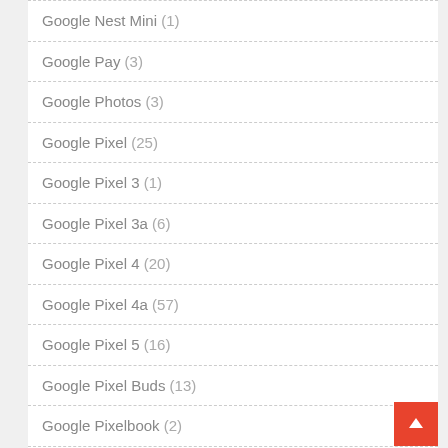Google Nest Mini (1)
Google Pay (3)
Google Photos (3)
Google Pixel (25)
Google Pixel 3 (1)
Google Pixel 3a (6)
Google Pixel 4 (20)
Google Pixel 4a (57)
Google Pixel 5 (16)
Google Pixel Buds (13)
Google Pixelbook (2)
Google Play (5)